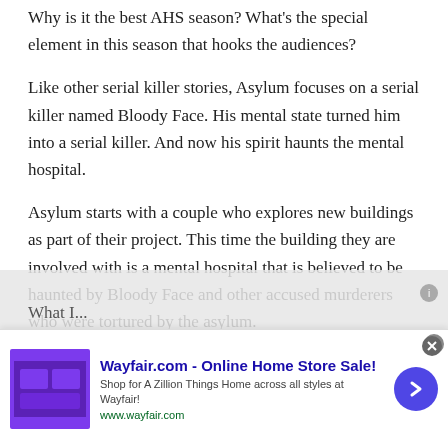Why is it the best AHS season? What's the special element in this season that hooks the audiences?
Like other serial killer stories, Asylum focuses on a serial killer named Bloody Face. His mental state turned him into a serial killer. And now his spirit haunts the mental hospital.
Asylum starts with a couple who explores new buildings as part of their project. This time the building they are involved with is a mental hospital that is believed to be haunted by Bloody Face and other accused murderers who were tortured by the asylum.
What I...
[Figure (other): Wayfair.com advertisement banner: 'Wayfair.com - Online Home Store Sale! Shop for A Zillion Things Home across all styles at Wayfair! www.wayfair.com' with a purple product image on the left and a dark blue arrow button on the right.]